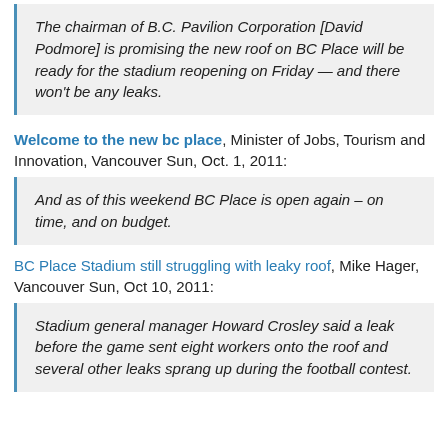The chairman of B.C. Pavilion Corporation [David Podmore] is promising the new roof on BC Place will be ready for the stadium reopening on Friday — and there won't be any leaks.
Welcome to the new bc place, Minister of Jobs, Tourism and Innovation, Vancouver Sun, Oct. 1, 2011:
And as of this weekend BC Place is open again – on time, and on budget.
BC Place Stadium still struggling with leaky roof, Mike Hager, Vancouver Sun, Oct 10, 2011:
Stadium general manager Howard Crosley said a leak before the game sent eight workers onto the roof and several other leaks sprang up during the football contest.